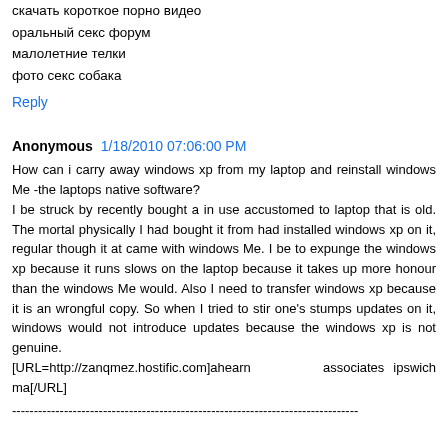скачать короткое порно видео
оральный секс форум
малолетние телки
фото секс собака
Reply
Anonymous  1/18/2010 07:06:00 PM
How can i carry away windows xp from my laptop and reinstall windows Me -the laptops native software?
I be struck by recently bought a in use accustomed to laptop that is old. The mortal physically I had bought it from had installed windows xp on it, regular though it at came with windows Me. I be to expunge the windows xp because it runs slows on the laptop because it takes up more honour than the windows Me would. Also I need to transfer windows xp because it is an wrongful copy. So when I tried to stir one's stumps updates on it, windows would not introduce updates because the windows xp is not genuine.
[URL=http://zanqmez.hostific.com]ahearn            associates ipswich ma[/URL]
--------------------------------------------------------------------------------